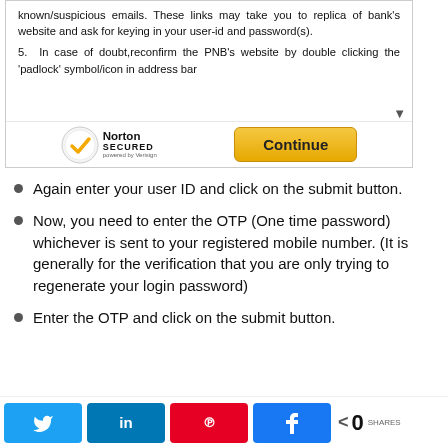[Figure (screenshot): Screenshot of a bank website (PNB) showing security tips text about not clicking links in unknown/suspicious emails, and a warning about padlock symbol. Shows Norton Secured badge and a Continue button.]
Again enter your user ID and click on the submit button.
Now, you need to enter the OTP (One time password) whichever is sent to your registered mobile number. (It is generally for the verification that you are only trying to regenerate your login password)
Enter the OTP and click on the submit button.
[Figure (screenshot): Social sharing bar with Twitter, LinkedIn, Pinterest, Facebook buttons and a share count showing 0 SHARES.]